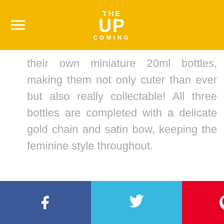THE UP COMING
their own miniature 20ml bottles, making them not only cuter than ever but also really collectable! All three bottles are completed with a delicate gold chain and satin bow, keeping the feminine style throughout.
Social share bar: Facebook, Twitter, Pinterest, Comment